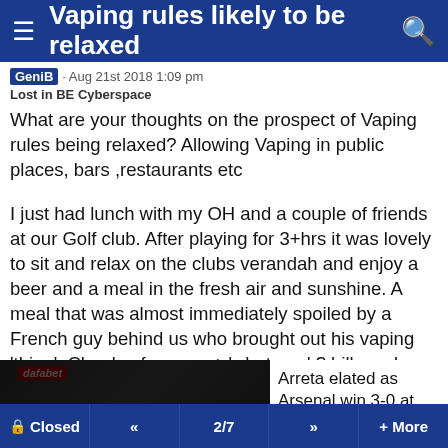Vaping rules likely to be relaxed
GeniB · Aug 21st 2018 1:09 pm
Lost in BE Cyberspace
What are your thoughts on the prospect of Vaping rules being relaxed? Allowing Vaping in public places, bars ,restaurants etc
I just had lunch with my OH and a couple of friends at our Golf club. After playing for 3+hrs it was lovely to sit and relax on the clubs verandah and enjoy a beer and a meal in the fresh air and sunshine. A meal that was almost immediately spoiled by a French guy behind us who brought out his vaping 'thing'. Clouds of vapour + 'whatever' ? billowed over
[Figure (screenshot): Media player error overlay showing 'The media could not be loaded, either because the server or network failed or because the format is not supported.' with a video thumbnail showing a press conference with dafabet branding, alongside a news snippet about Arreta elated as Arsenal win 3-0 at Bournemouth to go at top of the table]
Closed  «  2/7  »  + More